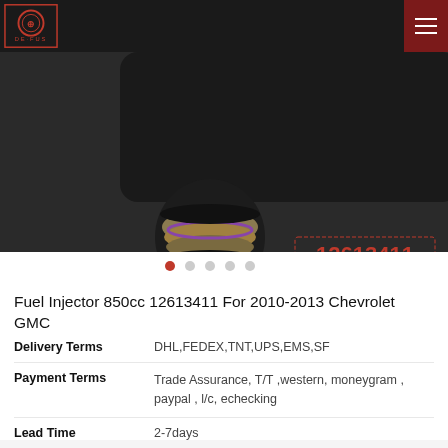DEFUS logo and navigation header
[Figure (photo): Close-up photo of a fuel injector showing metallic tip with rings and seals against dark background, with a red stamp overlay showing '12613411']
Fuel Injector 850cc 12613411 For 2010-2013 Chevrolet GMC
| Term | Value |
| --- | --- |
| Delivery Terms | DHL,FEDEX,TNT,UPS,EMS,SF |
| Payment Terms | Trade Assurance, T/T ,western, moneygram , paypal , l/c, echecking |
| Lead Time | 2-7days |